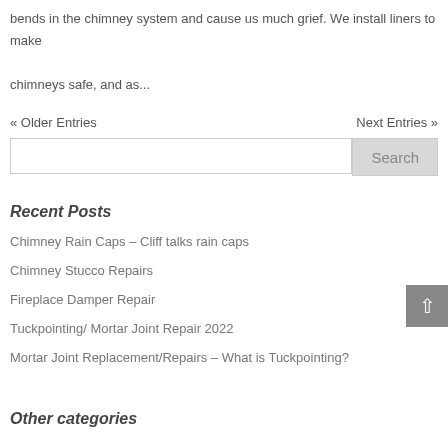bends in the chimney system and cause us much grief. We install liners to make chimneys safe, and as...
« Older Entries    Next Entries »
Recent Posts
Chimney Rain Caps – Cliff talks rain caps
Chimney Stucco Repairs
Fireplace Damper Repair
Tuckpointing/ Mortar Joint Repair 2022
Mortar Joint Replacement/Repairs – What is Tuckpointing?
Other categories